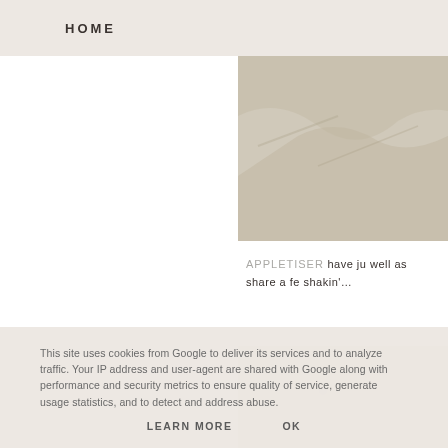HOME
[Figure (photo): Sandy beach or rock texture with light sandy tones, cropped in upper right column]
APPLETISER have ju well as share a fe shakin'…
[Figure (photo): Light sandy or plaster wall texture, cropped in lower right column]
This site uses cookies from Google to deliver its services and to analyze traffic. Your IP address and user-agent are shared with Google along with performance and security metrics to ensure quality of service, generate usage statistics, and to detect and address abuse.
LEARN MORE    OK